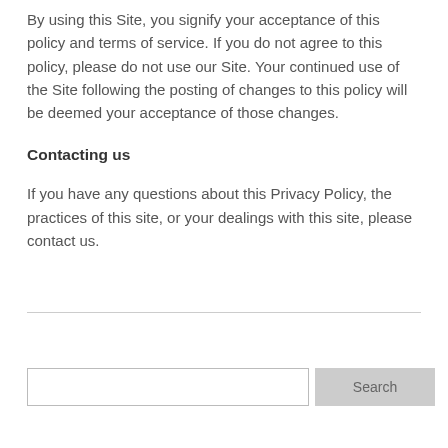By using this Site, you signify your acceptance of this policy and terms of service. If you do not agree to this policy, please do not use our Site. Your continued use of the Site following the posting of changes to this policy will be deemed your acceptance of those changes.
Contacting us
If you have any questions about this Privacy Policy, the practices of this site, or your dealings with this site, please contact us.